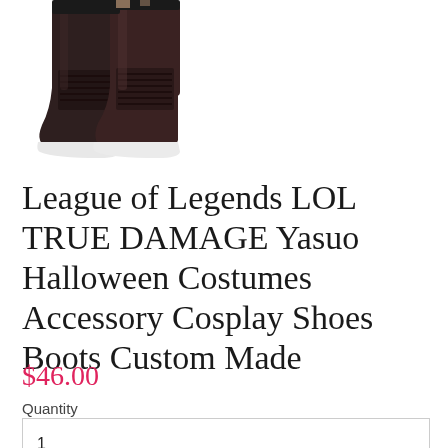[Figure (photo): A pair of dark brown/black lace-up ankle boots with white soles, shown from the side on a white background. The boots appear to be cosplay footwear.]
League of Legends LOL TRUE DAMAGE Yasuo Halloween Costumes Accessory Cosplay Shoes Boots Custom Made
$46.00
Quantity
1